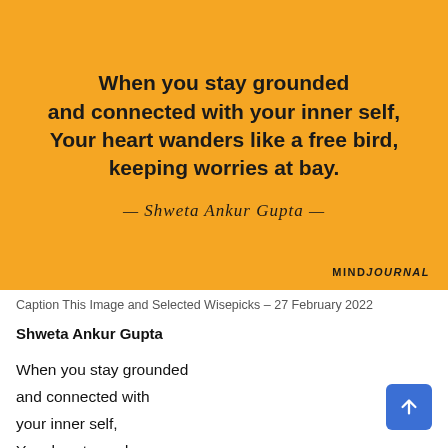[Figure (illustration): Orange/yellow background quote card with bold text quote and cursive author attribution. MindJournal logo in bottom right.]
Caption This Image and Selected Wisepicks – 27 February 2022
Shweta Ankur Gupta
When you stay grounded
and connected with
your inner self,
Your heart wanders
like a free bird,
keeping worries at bay.